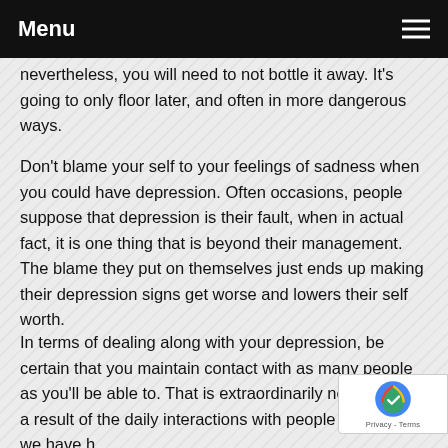Menu
nevertheless, you will need to not bottle it away. It's going to only floor later, and often in more dangerous ways.
Don't blame your self to your feelings of sadness when you could have depression. Often occasions, people suppose that depression is their fault, when in actual fact, it is one thing that is beyond their management. The blame they put on themselves just ends up making their depression signs get worse and lowers their self worth.
In terms of dealing along with your depression, be certain that you maintain contact with as many people as you'll be able to. That is extraordinarily necessary as a result of the daily interactions with people that now we have h...